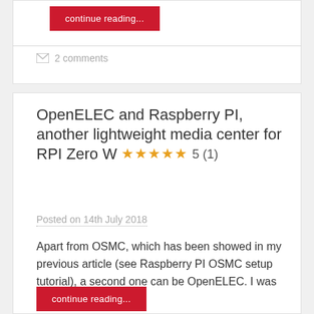continue reading...
2 comments
OpenELEC and Raspberry PI, another lightweight media center for RPI Zero W ★★★★★ 5 (1)
Posted on 14th July 2018
Apart from OSMC, which has been showed in my previous article (see Raspberry PI OSMC setup tutorial), a second one can be OpenELEC. I was
continue reading...